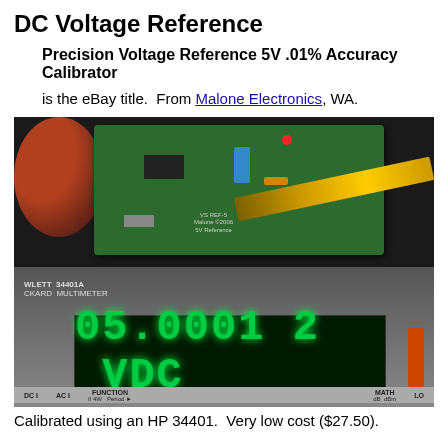DC Voltage Reference
Precision Voltage Reference 5V .01% Accuracy Calibrator
is the eBay title.  From Malone Electronics, WA.
[Figure (photo): Photo of a green PCB voltage reference board with yellow and red alligator clips connected, sitting on top of an HP Hewlett Packard 34401A multimeter displaying 05.0001 2 VDC on its green LED display.]
Calibrated using an HP 34401.  Very low cost ($27.50).